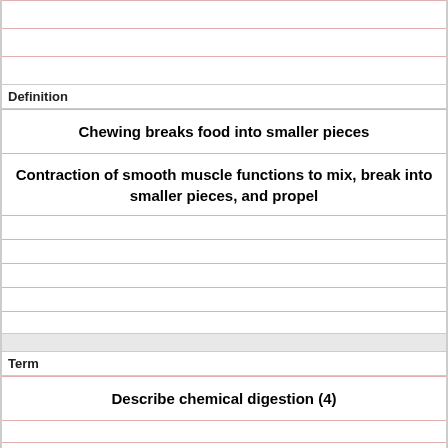|  |
|  |
|  |
| Definition |
| Chewing breaks food into smaller pieces |
| Contraction of smooth muscle functions to mix, break into smaller pieces, and propel |
|  |
|  |
|  |
|  |
|  |
|  |
| Term |
| Describe chemical digestion (4) |
|  |
|  |
|  |